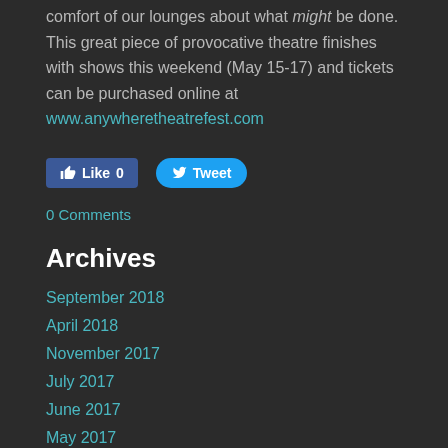comfort of our lounges about what might be done. This great piece of provocative theatre finishes with shows this weekend (May 15-17) and tickets can be purchased online at www.anywheretheatrefest.com
[Figure (screenshot): Social media buttons: Facebook Like button showing 0 likes, and Twitter Tweet button]
0 Comments
Archives
September 2018
April 2018
November 2017
July 2017
June 2017
May 2017
April 2017
March 2017
January 2017